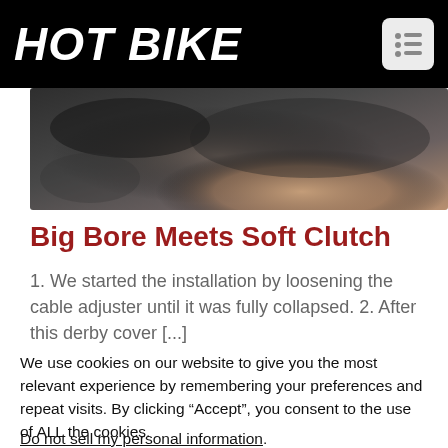HOT BIKE
[Figure (photo): Blurred close-up photograph of motorcycle parts/clutch hardware with dark and skin-tone background]
Big Bore Meets Soft Clutch
1. We started the installation by loosening the cable adjuster until it was fully collapsed. 2. After this derby cover [...]
We use cookies on our website to give you the most relevant experience by remembering your preferences and repeat visits. By clicking “Accept”, you consent to the use of ALL the cookies.
Do not sell my personal information.
Cookie Settings  Accept